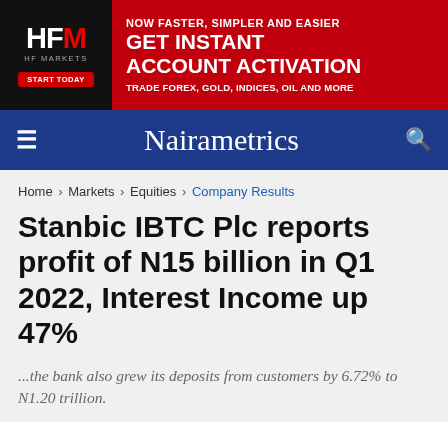[Figure (illustration): HFM HF Markets advertisement banner: black left panel with HFM logo and START TODAY button, red right panel with text NOW FASTER, SIMPLER AND EASIER / GET INSTANT ACCOUNT ACTIVATION / TRADE FOREX, GOLD, INDICES, OIL AND MORE]
Nairametrics
Home > Markets > Equities > Company Results
Stanbic IBTC Plc reports profit of N15 billion in Q1 2022, Interest Income up 47%
...the bank also grew its deposits from customers by 6.72% to N1.20 trillion.